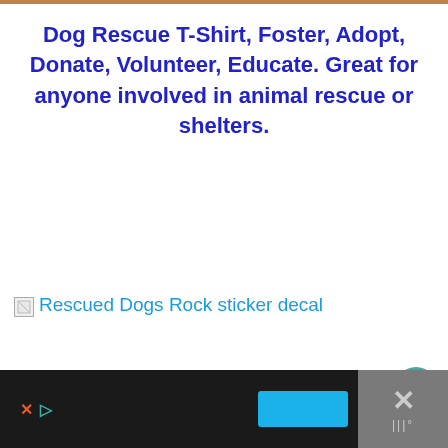Dog Rescue T-Shirt, Foster, Adopt, Donate, Volunteer, Educate. Great for anyone involved in animal rescue or shelters.
[Figure (illustration): Broken image placeholder with link text: Rescued Dogs Rock sticker decal]
234
[Figure (screenshot): Bottom advertisement bar with close button and play controls]